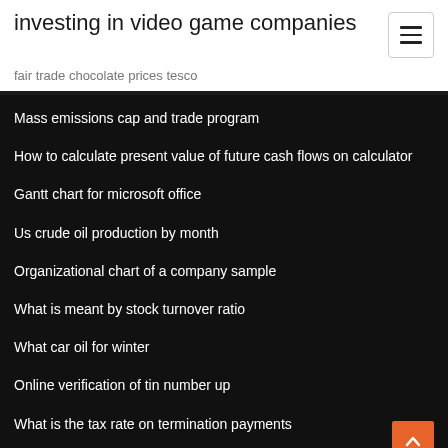investing in video game companies
fair trade chocolate prices tesco
Mass emissions cap and trade program
How to calculate present value of future cash flows on calculator
Gantt chart for microsoft office
Us crude oil production by month
Organizational chart of a company sample
What is meant by stock turnover ratio
What car oil for winter
Online verification of tin number up
What is the tax rate on termination payments
What are the three requirements of a valid contract